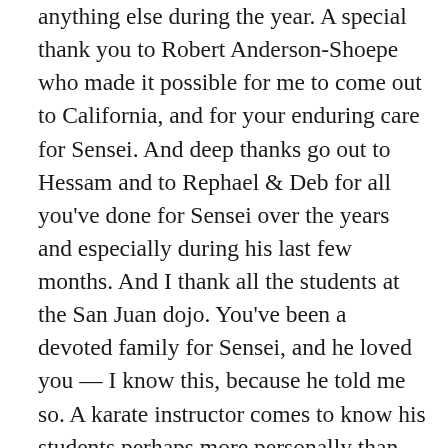anything else during the year. A special thank you to Robert Anderson-Shoepe who made it possible for me to come out to California, and for your enduring care for Sensei. And deep thanks go out to Hessam and to Rephael & Deb for all you've done for Sensei over the years and especially during his last few months. And I thank all the students at the San Juan dojo. You've been a devoted family for Sensei, and he loved you — I know this, because he told me so. A karate instructor comes to know his students perhaps more personally than teachers in other arts. Karate students also become very close to their instructor. And in many cases an instructor's students become like family to him, and that closeness becomes a deep caring for each person that extends far beyond one's proficiency in karate and the training in the dojo. Just know that Sensei cared as much for you as you do for him. So, I wish you all a grand time today as you remember Sensei David Johnston. I do wish I could be there with